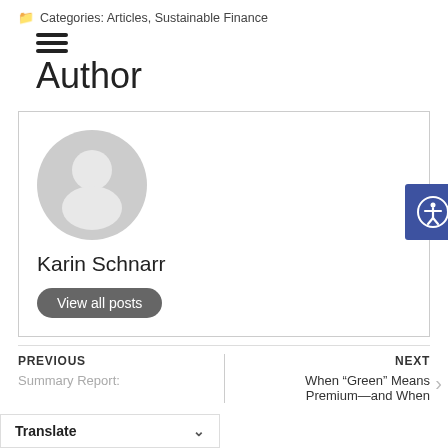Categories: Articles, Sustainable Finance
Author
[Figure (illustration): Author card with a generic avatar (gray silhouette), author name 'Karin Schnarr', and a 'View all posts' button. An accessibility icon button is visible on the right edge.]
Karin Schnarr
View all posts
PREVIOUS
Summary Report:
NEXT
When “Green” Means Premium—and When
Translate